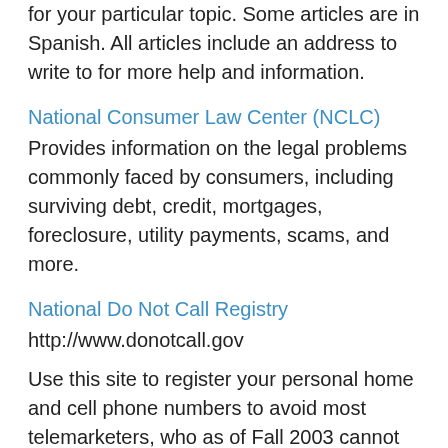for your particular topic. Some articles are in Spanish. All articles include an address to write to for more help and information.
National Consumer Law Center (NCLC)
Provides information on the legal problems commonly faced by consumers, including surviving debt, credit, mortgages, foreclosure, utility payments, scams, and more.
National Do Not Call Registry
http://www.donotcall.gov
Use this site to register your personal home and cell phone numbers to avoid most telemarketers, who as of Fall 2003 cannot call your telephone number if it is in the National Do Not Call Registry. Also verify your registration, change it, or file a complaint about failure to honor this registry. Some material available